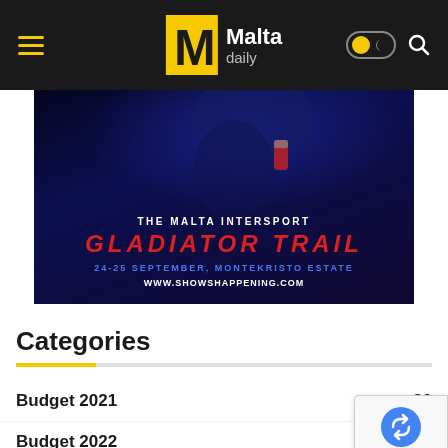Malta Daily
[Figure (photo): The Malta Intersport Gladiator Trail advertisement. Dark blue background with a person's hand and arm visible at top. Text: THE MALTA INTERSPORT, GLADIATOR TRAIL (in red), 24-25 SEPTEMBER, MONTEKRISTO ESTATE (in blue), WWW.SHOWSHAPPENING.COM (in white).]
Categories
Budget 2021   20
Budget 2022   24